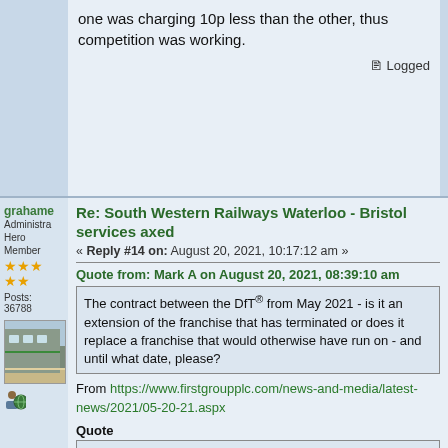one was charging 10p less than the other, thus competition was working.
Logged
Re: South Western Railways Waterloo - Bristol services axed
« Reply #14 on: August 20, 2021, 10:17:12 am »
Quote from: Mark A on August 20, 2021, 08:39:10 am
The contract between the DfT® from May 2021 - is it an extension of the franchise that has terminated or does it replace a franchise that would otherwise have run on - and until what date, please?
From https://www.firstgroupplc.com/news-and-media/latest-news/2021/05-20-21.aspx
Quote
FirstGroup Signs New National Rail Contracts